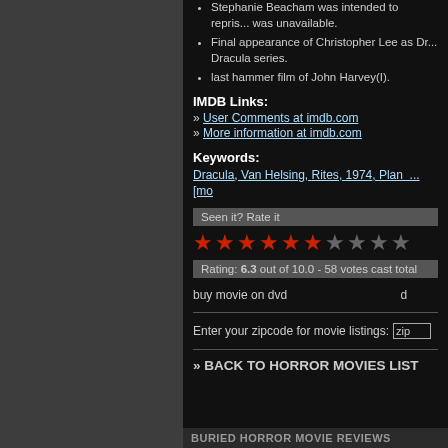Stephanie Beacham was intended to repris... was unavailable.
Final appearance of Christopher Lee as Dr... Dracula series.
last hammer film of John Harvey(I).
IMDB Links:
» User Comments at imdb.com
» More information at imdb.com
Keywords:
Dracula, Van Helsing, Rites, 1974, Plan  ...[mo
Seen it? Rate it
[Figure (infographic): Star rating display: 6 filled red stars and 4 empty gray stars]
Rating: 6.3 out of 10.0 - 58 votes cast total
buy movie on dvd
Enter your zipcode for movie listings:
» BACK TO HORROR MOVIES LIST
BURIED HORROR MOVIE REVIEWS